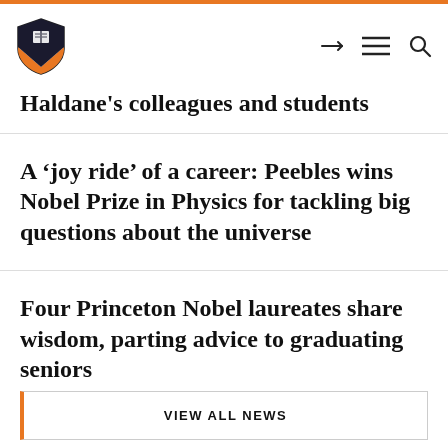Princeton University — navigation header with logo, share, menu, and search icons
Haldane's colleagues and students
A ‘joy ride’ of a career: Peebles wins Nobel Prize in Physics for tackling big questions about the universe
Four Princeton Nobel laureates share wisdom, parting advice to graduating seniors
VIEW ALL NEWS